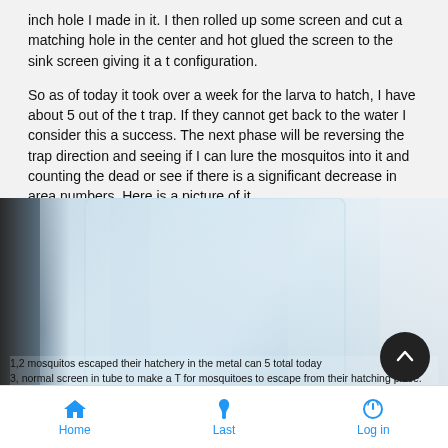inch hole I made in it.   I then rolled up some screen and cut a matching hole in the center and hot glued the screen to the sink screen giving it a t configuration.
So as of today it took over a week for the larva to hatch, I have about 5 out of the t trap.   If they cannot get back to the water I consider this a success.   The next phase will be reversing the trap direction and seeing if I can lure the mosquitos into it and counting the dead or see if there is a significant decrease in area numbers.   Here is a picture of it.
[Figure (photo): Photo showing a transparent container/glass structure described as a mosquito trap. Overlaid text reads: '1,2 mosquitos escaped their hatchery in the metal can 5 total today', '3, normal screen in tube to make a T for mosquitoes to escape from their hatching place.', '4, hotglue to join screen to sink screen'. A dark circular scroll-up button is visible at bottom right of the image.]
Home   Last   Log in